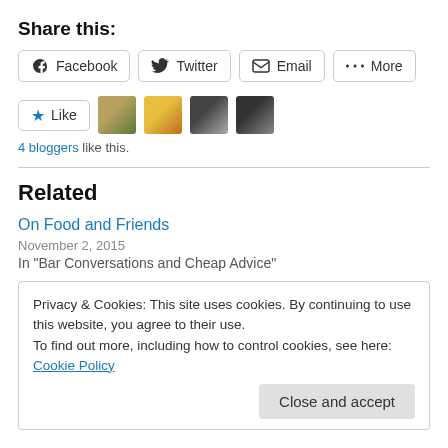Share this:
[Figure (screenshot): Social share buttons: Facebook, Twitter, Email, More]
[Figure (screenshot): Like button with star icon and 4 blogger avatars]
4 bloggers like this.
Related
On Food and Friends
November 2, 2015
In "Bar Conversations and Cheap Advice"
Privacy & Cookies: This site uses cookies. By continuing to use this website, you agree to their use.
To find out more, including how to control cookies, see here: Cookie Policy